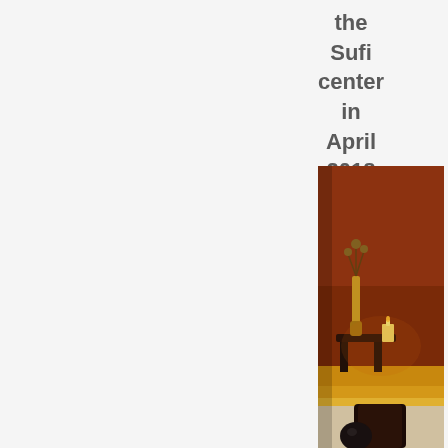the Sufi center in April 2018
[Figure (photo): Interior photo of the Sufi center showing a dark reddish-brown wall, a decorative stand with a tall golden vase containing dried plants, a small candle on a table, warm ambient lighting with golden floor, and a dark cylindrical object in the foreground.]